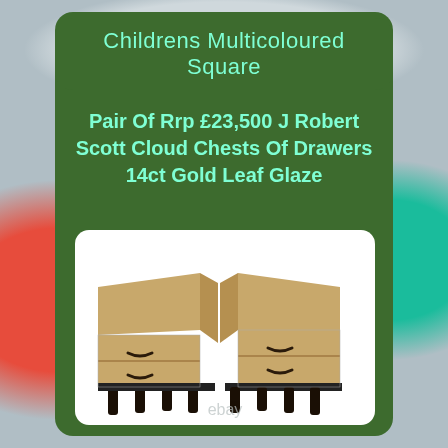Childrens Multicoloured Square
Pair Of Rrp £23,500 J Robert Scott Cloud Chests Of Drawers 14ct Gold Leaf Glaze
[Figure (photo): Two J Robert Scott Cloud Chests Of Drawers with gold leaf glaze finish and black legs, shown side by side on a white background. eBay watermark at the bottom.]